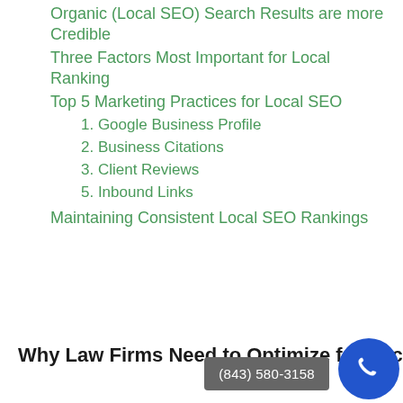Organic (Local SEO) Search Results are more Credible
Three Factors Most Important for Local Ranking
Top 5 Marketing Practices for Local SEO
1. Google Business Profile
2. Business Citations
3. Client Reviews
5. Inbound Links
Maintaining Consistent Local SEO Rankings
Why Law Firms Need to Optimize for Local SEO
(843) 580-3158